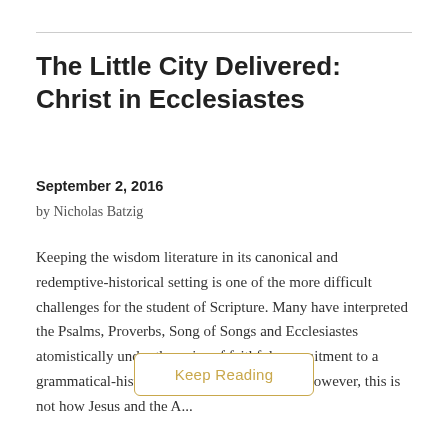The Little City Delivered: Christ in Ecclesiastes
September 2, 2016
by Nicholas Batzig
Keeping the wisdom literature in its canonical and redemptive-historical setting is one of the more difficult challenges for the student of Scripture. Many have interpreted the Psalms, Proverbs, Song of Songs and Ecclesiastes atomistically under the guise of faithful commitment to a grammatical-historical reading of Scripture. However, this is not how Jesus and the A...
Keep Reading